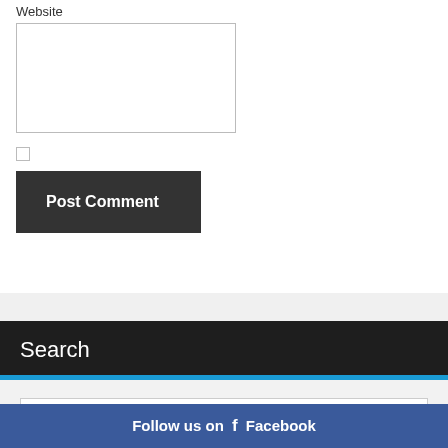Website
Post Comment
Search
Search …
Follow us on f Facebook